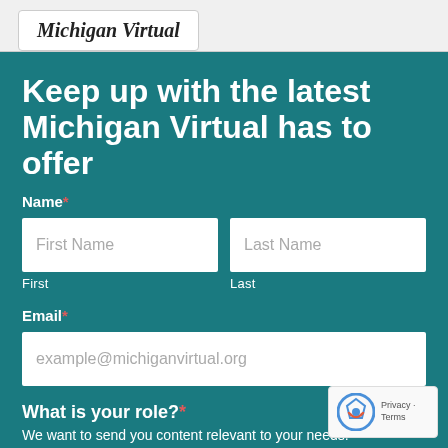Michigan Virtual
Keep up with the latest Michigan Virtual has to offer
Name*
First Name
First
Last Name
Last
Email*
example@michiganvirtual.org
What is your role?*
We want to send you content relevant to your needs.